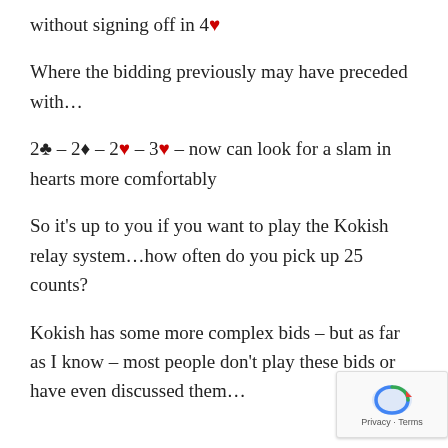without signing off in 4♥
Where the bidding previously may have preceded with…
2♣ – 2♦ – 2♥ – 3♥ – now can look for a slam in hearts more comfortably
So it's up to you if you want to play the Kokish relay system…how often do you pick up 25 counts?
Kokish has some more complex bids – but as far as I know – most people don't play these bids or have even discussed them…